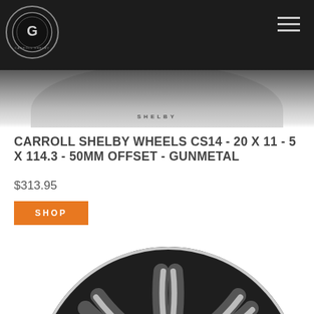Carroll Shelby Wheels - Navigation Header
[Figure (photo): Top partial view of a Carroll Shelby wheel hub with 'SHELBY' text, set against a dark background]
CARROLL SHELBY WHEELS CS14 - 20 X 11 - 5 X 114.3 - 50MM OFFSET - GUNMETAL
$313.95
SHOP
[Figure (photo): Close-up of a Carroll Shelby CS14 gunmetal wheel showing machined spokes and center cap]